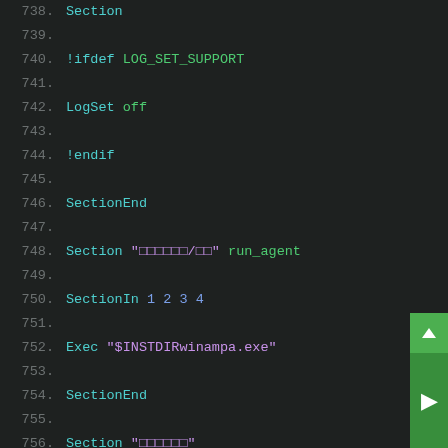[Figure (screenshot): Code editor screenshot showing NSIS installer script lines 738-759 with syntax highlighting on dark background. Line numbers in gray on left, keywords in cyan/green, string literals in yellow/purple, arguments in blue/purple.]